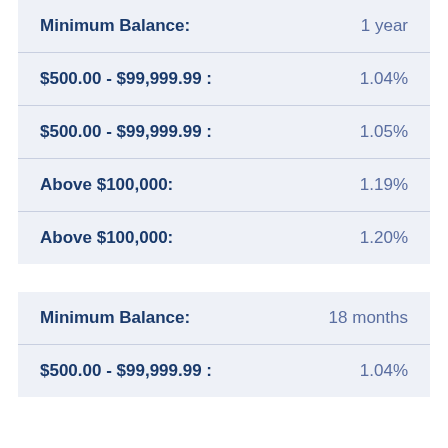| Minimum Balance | 1 year |
| --- | --- |
| $500.00 - $99,999.99 : | 1.04% |
| $500.00 - $99,999.99 : | 1.05% |
| Above $100,000: | 1.19% |
| Above $100,000: | 1.20% |
| Minimum Balance | 18 months |
| --- | --- |
| $500.00 - $99,999.99 : | 1.04% |